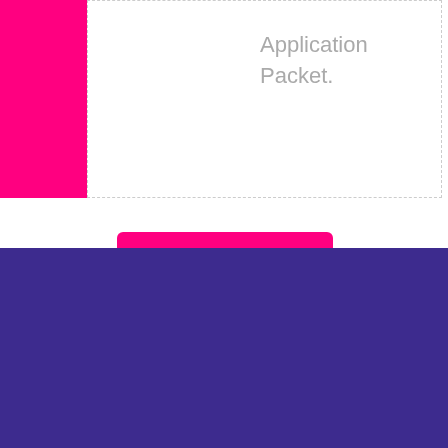[Figure (other): Pink/magenta solid rectangle block in the top-left corner of the page]
Application Packet.
MORE DETAILS
PRICING PLANS
Get your Ticket
[Figure (illustration): Decorative wavy/zigzag line illustration in white on purple background]
[Figure (other): Pink circular scroll-to-top button with upward chevron arrow]